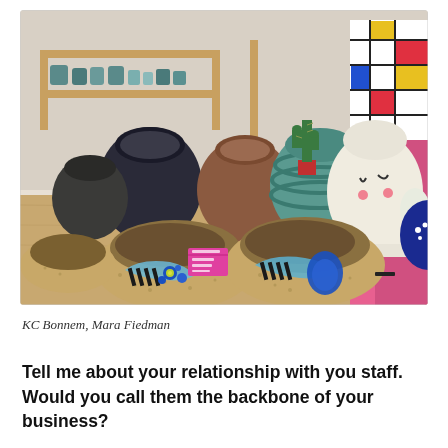[Figure (photo): A collection of ceramic pottery pieces displayed on a wooden table in a shop. In the foreground are two large speckled beige bowls decorated with blue abstract patterns, dots, and black stripe designs. Behind them are more ceramic vessels of various sizes and colors including dark navy, terracotta brown, teal-green striped, and a white whimsical face vase. In the background are shelves with small ceramic items and colorful decorative pieces including a cactus, a pink and black patterned piece, and other colorful ceramics.]
KC Bonnem, Mara Fiedman
Tell me about your relationship with you staff. Would you call them the backbone of your business?